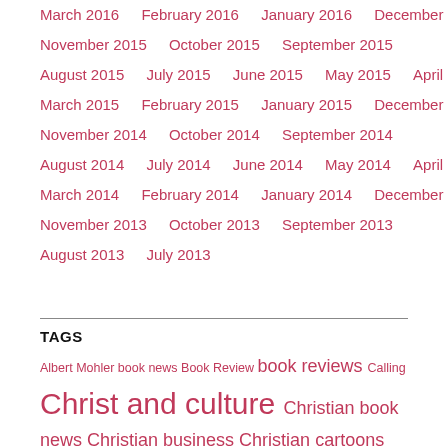March 2016   February 2016   January 2016   December 2015
November 2015   October 2015   September 2015
August 2015   July 2015   June 2015   May 2015   April 2015
March 2015   February 2015   January 2015   December 2014
November 2014   October 2014   September 2014
August 2014   July 2014   June 2014   May 2014   April 2014
March 2014   February 2014   January 2014   December 2013
November 2013   October 2013   September 2013
August 2013   July 2013
TAGS
Albert Mohler  book news  Book Review  book reviews  Calling  Christ and culture  Christian book news  Christian business  Christian cartoons  Christianity and Culture  Christian